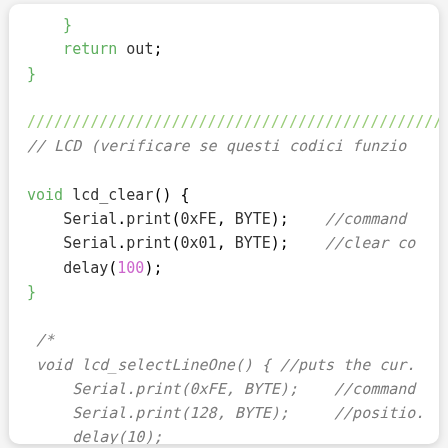Code snippet showing Arduino C++ LCD functions including lcd_clear() and lcd_selectLineOne() in a commented block
[Figure (screenshot): Syntax-highlighted source code in monospace font showing closing brace and return statement, separator comment line, lcd_clear() function, and commented-out lcd_selectLineOne() function]